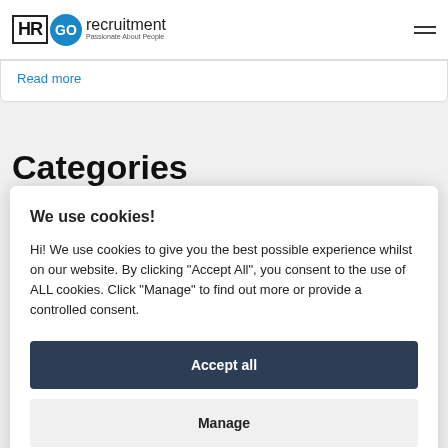HR GO recruitment - Passionate About People
Read more
Categories
We use cookies!
Hi! We use cookies to give you the best possible experience whilst on our website. By clicking "Accept All", you consent to the use of ALL cookies. Click "Manage" to find out more or provide a controlled consent.
Accept all
Manage